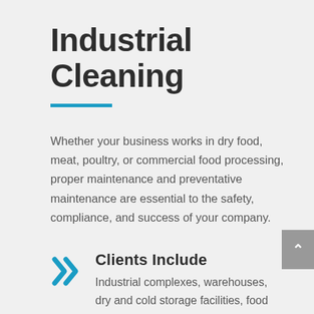Industrial Cleaning
Whether your business works in dry food, meat, poultry, or commercial food processing, proper maintenance and preventative maintenance are essential to the safety, compliance, and success of your company.
Clients Include
Industrial complexes, warehouses, dry and cold storage facilities, food service plants (dry food, meat and